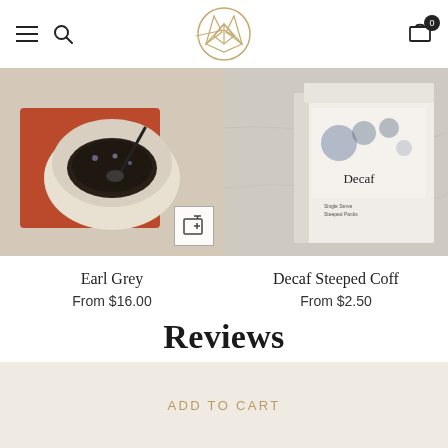[Figure (screenshot): E-commerce website header with hamburger menu, search icon, fox/cat geometric logo in gold outline, and cart icon with badge showing 0]
[Figure (photo): Earl Grey tea product photo: loose tea leaves in a cream ceramic bowl on a red/rust cloth napkin, with a dark spoon, on a light marble surface. Quick-add icon in bottom right corner.]
Earl Grey
From $16.00
[Figure (photo): Decaf Steeped Coffee product photo: a white box with floral design labeled 'Decaf' on a marble surface.]
Decaf Steeped Coff
From $2.50
Reviews
ADD TO CART